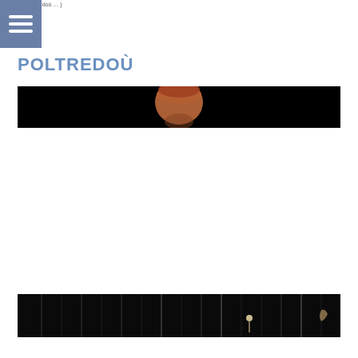POLTREDOÙ
POLTREDOÙ
[Figure (photo): Dark photograph with a person's face/head visible at center against a black background]
[Figure (photo): Dark photograph showing a stage or concert scene with vertical light streaks and a small illuminated figure visible]